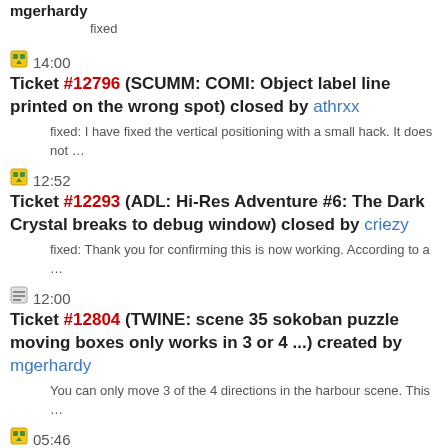mgerhardy
fixed
14:00 Ticket #12796 (SCUMM: COMI: Object label line printed on the wrong spot) closed by athrxx
fixed: I have fixed the vertical positioning with a small hack. It does not …
12:52 Ticket #12293 (ADL: Hi-Res Adventure #6: The Dark Crystal breaks to debug window) closed by criezy
fixed: Thank you for confirming this is now working. According to a …
12:00 Ticket #12804 (TWINE: scene 35 sokoban puzzle moving boxes only works in 3 or 4 ...) created by mgerhardy
You can only move 3 of the 4 directions in the harbour scene. This …
05:46 Ticket #12468 (AGS: Space Quest - Vohaul Strikes Back - Sewer bug) closed by dreammaster
wontfix: Played through the game in the original bundled interpreter, and …